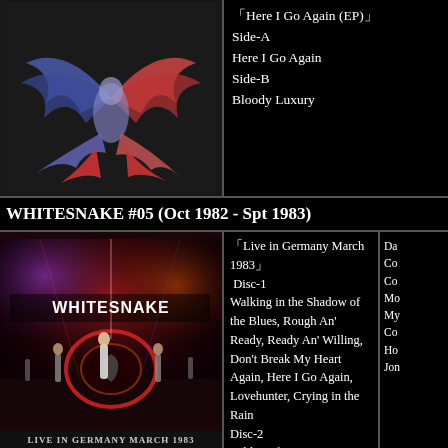[Figure (photo): Whitesnake album art with winged figure logo on dark background]
「Here I Go Again (EP)」
Side-A
Here I Go Again
Side-B
Bloody Luxury
WHITESNAKE #05 (Oct 1982 - Spt 1983)
[Figure (photo): Whitesnake live concert photo, Live in Germany March 1983, band on stage with red and purple stage lighting, WHITESNAKE logo visible on bass drum]
「Live in Germany March 1983」
 Disc-1
Walking in the Shadow of the Blues, Rough An' Ready, Ready An' Willing, Don't Break My Heart Again, Here I Go Again, Lovehunter, Crying in the Rain
Disc-2
Soldier of Fortune, Jon Lord Solo, Cozy Powell Solo feat. 633 Squadron & 1812 Overture, Ain't No Love in the Heart of the City, Fool For You, Love is She, Bl...
Da
Co
Co
Mo
My
Co
Ho
Jon